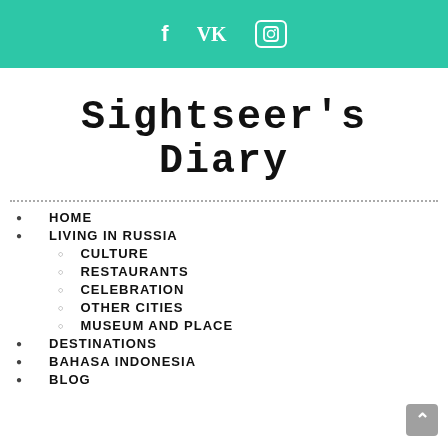f  VK  [instagram icon]
Sightseer's Diary
HOME
LIVING IN RUSSIA
CULTURE
RESTAURANTS
CELEBRATION
OTHER CITIES
MUSEUM AND PLACE
DESTINATIONS
BAHASA INDONESIA
BLOG